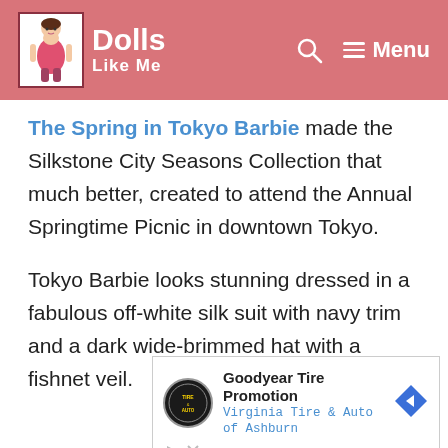Dolls Like Me — site header with search and menu icons
The Spring in Tokyo Barbie made the Silkstone City Seasons Collection that much better, created to attend the Annual Springtime Picnic in downtown Tokyo.
Tokyo Barbie looks stunning dressed in a fabulous off-white silk suit with navy trim and a dark wide-brimmed hat with a fishnet veil.
[Figure (screenshot): Advertisement: Goodyear Tire Promotion — Virginia Tire & Auto of Ashburn, with Goodyear logo circle, navigation arrow diamond icon, and ad controls (play/close)]